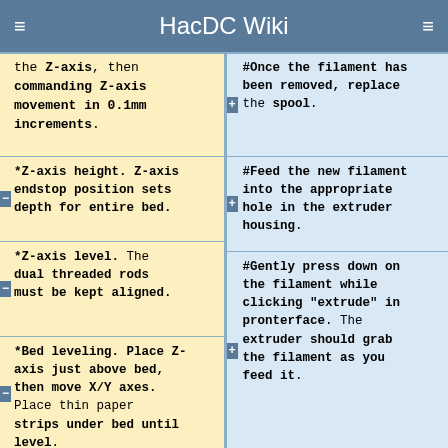HacDC Wiki
the Z-axis, then commanding Z-axis movement in 0.1mm increments.
*Z-axis height. Z-axis endstop position sets depth for entire bed.
*Z-axis level. The dual threaded rods must be kept aligned.
*Bed leveling. Place Z-axis just above bed, then move X/Y axes. Place thin paper strips under bed until level.
#Once the filament has been removed, replace the spool.
#Feed the new filament into the appropriate hole in the extruder housing.
#Gently press down on the filament while clicking "extrude" in pronterface. The extruder should grab the filament as you feed it.